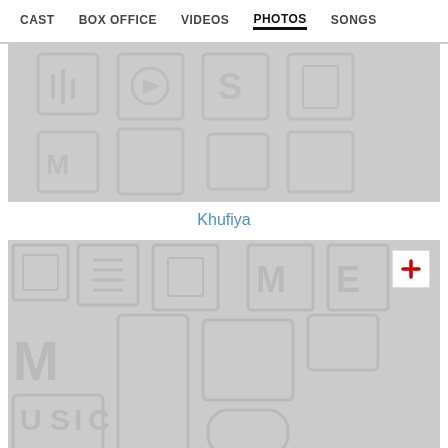CAST   BOX OFFICE   VIDEOS   PHOTOS   SONGS
[Figure (photo): Blurred decorative placeholder image with light gray illustrated pattern, top section]
Khufiya
[Figure (photo): Blurred decorative placeholder image with light gray illustrated music pattern, bottom section, with red plus button overlay]